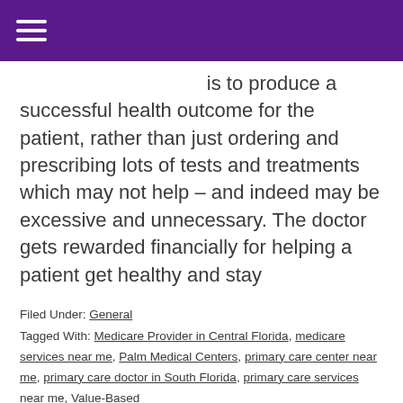is to produce a successful health outcome for the patient, rather than just ordering and prescribing lots of tests and treatments which may not help – and indeed may be excessive and unnecessary. The doctor gets rewarded financially for helping a patient get healthy and stay
Filed Under: General
Tagged With: Medicare Provider in Central Florida, medicare services near me, Palm Medical Centers, primary care center near me, primary care doctor in South Florida, primary care services near me, Value-Based